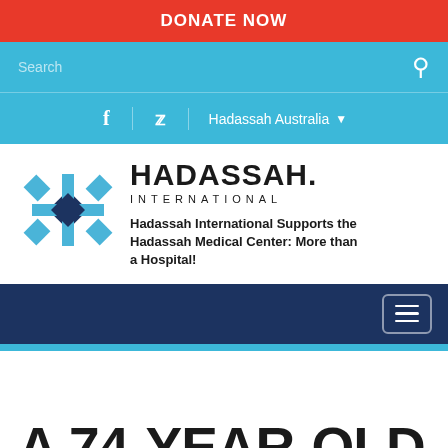DONATE NOW
Search
f  |  🐦  |  Hadassah Australia ▾
[Figure (logo): Hadassah International logo: blue geometric H shape with dark blue diamond center, beside text HADASSAH. INTERNATIONAL]
Hadassah International Supports the Hadassah Medical Center: More than a Hospital!
A 74-YEAR-OLD